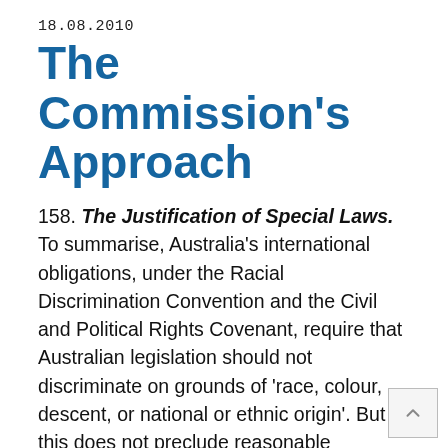18.08.2010
The Commission's Approach
158. The Justification of Special Laws. To summarise, Australia's international obligations, under the Racial Discrimination Convention and the Civil and Political Rights Covenant, require that Australian legislation should not discriminate on grounds of 'race, colour, descent, or national or ethnic origin'. But this does not preclude reasonable measures distinguishing particular